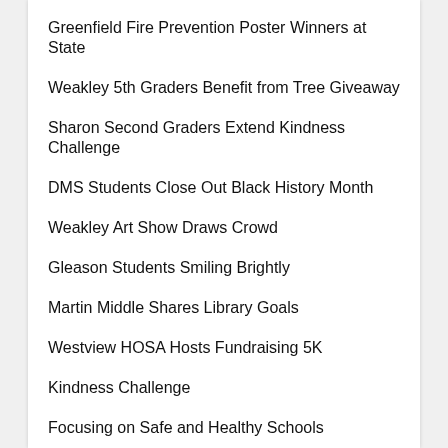Greenfield Fire Prevention Poster Winners at State
Weakley 5th Graders Benefit from Tree Giveaway
Sharon Second Graders Extend Kindness Challenge
DMS Students Close Out Black History Month
Weakley Art Show Draws Crowd
Gleason Students Smiling Brightly
Martin Middle Shares Library Goals
Westview HOSA Hosts Fundraising 5K
Kindness Challenge
Focusing on Safe and Healthy Schools